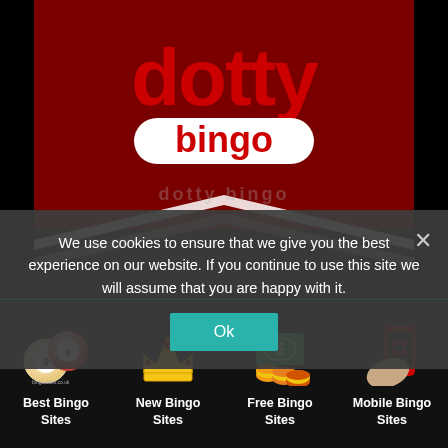[Figure (logo): Dotty Bingo logo — red text 'dotty' above white text 'bingo' on dark red background with chevron design]
We use cookies to ensure that we give you the best experience on our website. If you continue to use this site we will assume that you are happy with it.
[Figure (infographic): Bottom navigation bar with four icons and labels: Best Bingo Sites (bingo balls icon), New Bingo Sites (crown icon), Free Bingo Sites (money/coins icon), Mobile Bingo Sites (phone icon)]